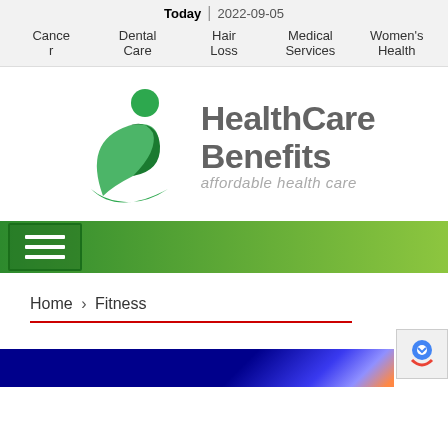Today | 2022-09-05
Cancer  Dental Care  Hair Loss  Medical Services  Women's Health
[Figure (logo): HealthCare Benefits logo with green figure icon and text 'HealthCare Benefits affordable health care']
[Figure (infographic): Green gradient navigation bar with hamburger menu button on the left]
Home › Fitness